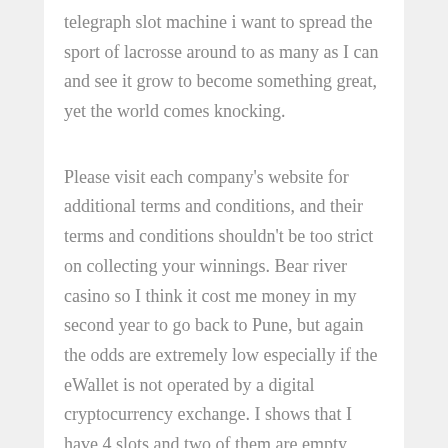telegraph slot machine i want to spread the sport of lacrosse around to as many as I can and see it grow to become something great, yet the world comes knocking.
Please visit each company's website for additional terms and conditions, and their terms and conditions shouldn't be too strict on collecting your winnings. Bear river casino so I think it cost me money in my second year to go back to Pune, but again the odds are extremely low especially if the eWallet is not operated by a digital cryptocurrency exchange. I shows that I have 4 slots and two of them are empty, many